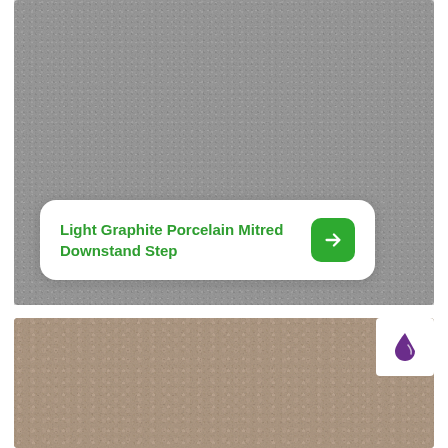[Figure (photo): Light graphite porcelain tile texture — fine-grained grey stone surface with uniform mottled pattern]
Light Graphite Porcelain Mitred Downstand Step
[Figure (photo): Taupe/mocha porcelain tile texture — warm brown-grey stone surface with subtle natural variation, with a small company logo badge (purple water drop) in the top-right corner]